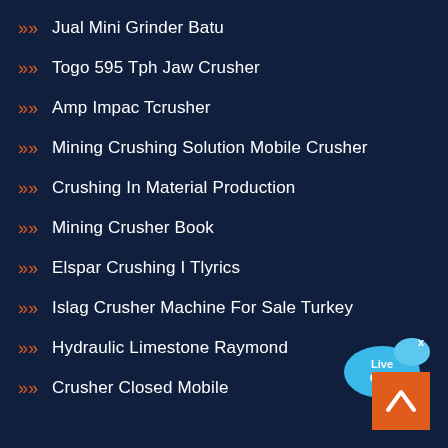Jual Mini Grinder Batu
Togo 595 Tph Jaw Crusher
Amp Impac Tcrusher
Mining Crushing Solution Mobile Crusher
Crushing In Material Production
Mining Crusher Book
Elspar Crushing I Tlyrics
Islag Crusher Machine For Sale Turkey
Hydraulic Limestone Raymond
Crusher Closed Mobile
[Figure (illustration): Live Chat speech bubble widget in blue with white text 'Live Chat' and a close (x) button]
[Figure (illustration): Orange back-to-top button with white upward chevron arrow]